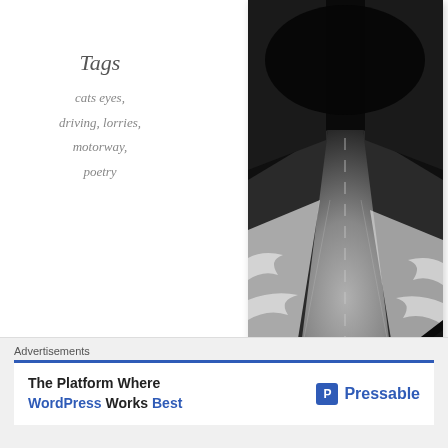Tags
cats eyes,
driving, lorries,
motorway,
poetry
[Figure (photo): Black and white photo of a snow-covered road at night, viewed from inside a car, with dark tree-lined embankments on either side converging to a dark vanishing point. Part of a car's interior is visible in the lower right.]
[Figure (other): Close X / dismiss button circle icon]
Advertisements
The Platform Where WordPress Works Best — Pressable